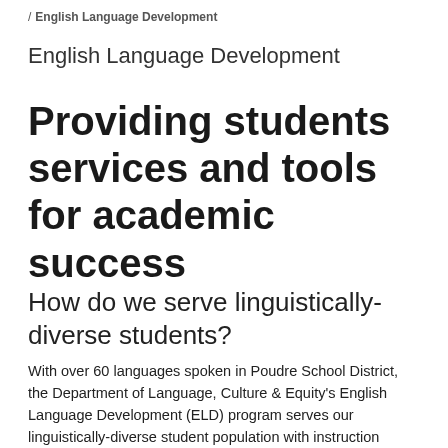/ English Language Development
English Language Development
Providing students services and tools for academic success
How do we serve linguistically-diverse students?
With over 60 languages spoken in Poudre School District, the Department of Language, Culture & Equity's English Language Development (ELD) program serves our linguistically-diverse student population with instruction based on both the Colorado Academic Standards and